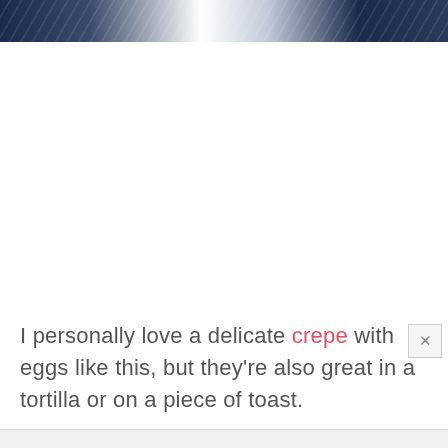[Figure (photo): Top portion of a food photo showing a dark navy blue and white plate or dish with eggs, partially cropped at the top of the page]
I personally love a delicate crepe with eggs like this, but they're also great in a tortilla or on a piece of toast.